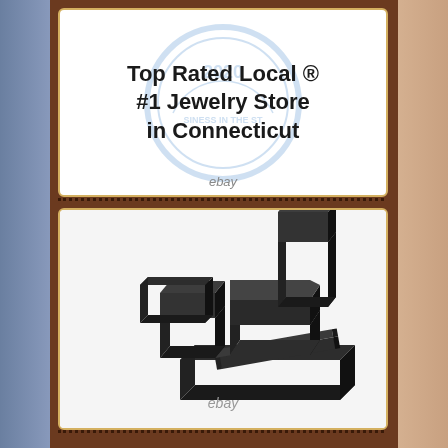[Figure (other): Award badge: Top Rated Local® #1 Jewelry Store in Connecticut, with blue circular badge watermark and ebay watermark]
[Figure (photo): Collection of black jewelry boxes of various sizes arranged together, with ebay watermark]